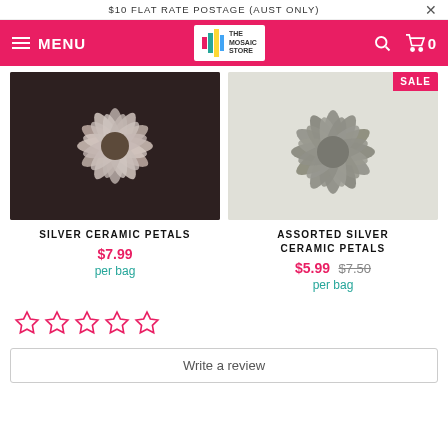$10 FLAT RATE POSTAGE (AUST ONLY)
MENU — The Mosaic Store
[Figure (photo): Silver ceramic petal mosaic tiles arranged in a flower pattern on dark background]
SILVER CERAMIC PETALS
$7.99 per bag
[Figure (photo): Assorted silver ceramic petal mosaic tiles arranged in a flower pattern on white background, with SALE badge]
ASSORTED SILVER CERAMIC PETALS
$5.99 $7.50 per bag
Write a review